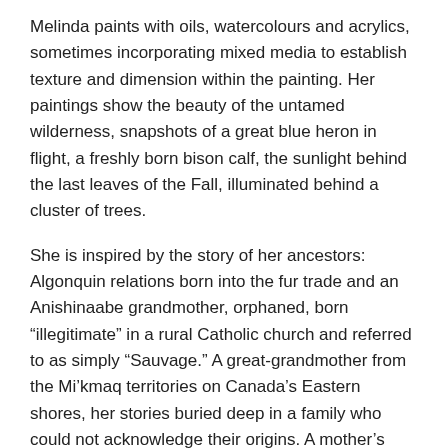Melinda paints with oils, watercolours and acrylics, sometimes incorporating mixed media to establish texture and dimension within the painting. Her paintings show the beauty of the untamed wilderness, snapshots of a great blue heron in flight, a freshly born bison calf, the sunlight behind the last leaves of the Fall, illuminated behind a cluster of trees.
She is inspired by the story of her ancestors: Algonquin relations born into the fur trade and an Anishinaabe grandmother, orphaned, born “illegitimate” in a rural Catholic church and referred to as simply “Sauvage.” A great-grandmother from the Mi’kmaq territories on Canada’s Eastern shores, her stories buried deep in a family who could not acknowledge their origins. A mother’s Scottish clan, with roots buried deep within the icy northern Orkney islands who, after centuries of war and hardship, sailed to Canada.
These inspiring stories are those of survival, families torn apart and reunited, of travelling great distances and remembering an identity attached to a far-away place. Melinda’s childhood was a nomadic adventure until she settled in North Bay, where the footsteps of her ancestors have brought her home.
This collection of paintings...